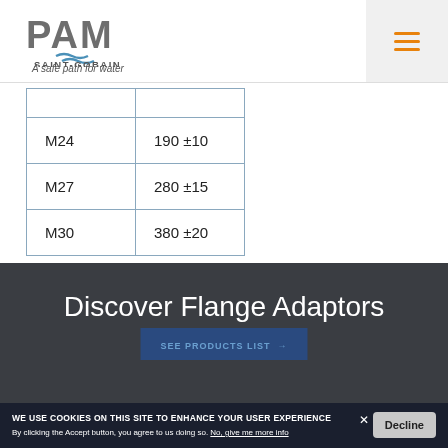[Figure (logo): PAM Saint-Gobain logo with tagline 'A safe path for water']
| M24 | 190 ±10 |
| M27 | 280 ±15 |
| M30 | 380 ±20 |
Discover Flange Adaptors
WE USE COOKIES ON THIS SITE TO ENHANCE YOUR USER EXPERIENCE
By clicking the Accept button, you agree to us doing so. No, give me more info